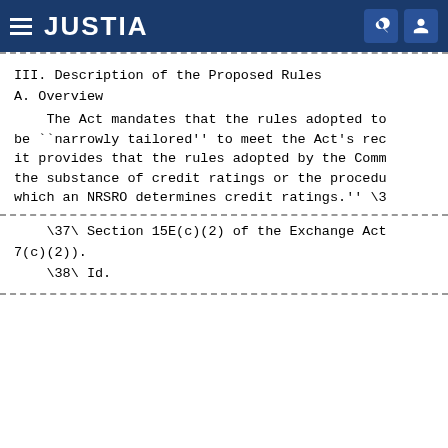JUSTIA
III. Description of the Proposed Rules
A. Overview
The Act mandates that the rules adopted to be ``narrowly tailored'' to meet the Act's requirements; it provides that the rules adopted by the Commission not the substance of credit ratings or the procedures and methodologies by which an NRSRO determines credit ratings.'' \37\
\37\ Section 15E(c)(2) of the Exchange Act. 7(c)(2)).
\38\ Id.